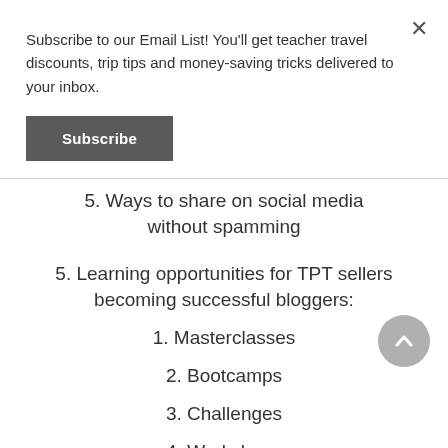Subscribe to our Email List! You'll get teacher travel discounts, trip tips and money-saving tricks delivered to your inbox.
Subscribe
5. Ways to share on social media without spamming
5. Learning opportunities for TPT sellers becoming successful bloggers:
1. Masterclasses
2. Bootcamps
3. Challenges
4. Workshops